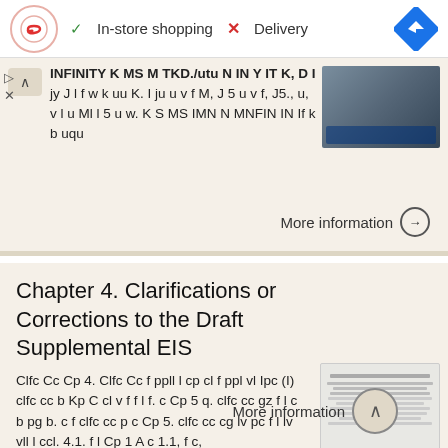In-store shopping  X Delivery
INFINITY K MS M TKD./utu N IN Y IT K, D I jy J l f w k uu K. l ju u v f M, J 5 u v f, J5., u, v l u Ml l 5 u w. K S MS IMN N MNFIN IN If k b uqu
More information
Chapter 4. Clarifications or Corrections to the Draft Supplemental EIS
Clfc Cc Cp 4. Clfc Cc f ppll l cp cl f ppl vl Ipc (I) clfc cc b Kp C cl v f f l f. c Cp 5 q. clfc cc gz f l c b pg b. c f clfc cc p c Cp 5. clfc cc cg lv pc f l lv vll l ccl. 4.1. f l Cp 1 A c 1.1, f c,
More information